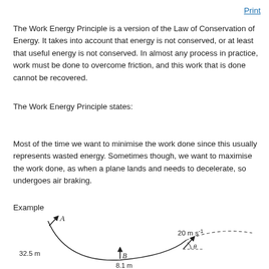Print
The Work Energy Principle is a version of the Law of Conservation of Energy. It takes into account that energy is not conserved, or at least that useful energy is not conserved. In almost any process in practice, work must be done to overcome friction, and this work that is done cannot be recovered.
The Work Energy Principle states:
Most of the time we want to minimise the work done since this usually represents wasted energy. Sometimes though, we want to maximise the work done, as when a plane lands and needs to decelerate, so undergoes air braking.
Example
[Figure (illustration): Diagram showing a curved ramp/slope. Point A is at the top left with an upward arrow labeled 'A'. The height is marked as 32.5 m. Point B is at the bottom of the curve with an upward arrow. To the right of B, a velocity vector arrow points upward-right labeled '20 m s⁻¹' with angle θ. A dashed arc extends to the right. The height at B is marked 8.1 m.]